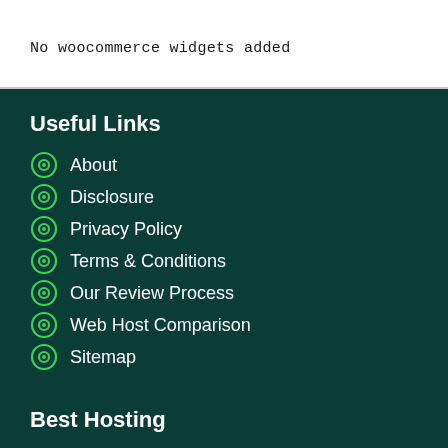No woocommerce widgets added
Useful Links
About
Disclosure
Privacy Policy
Terms & Conditions
Our Review Process
Web Host Comparison
Sitemap
Best Hosting